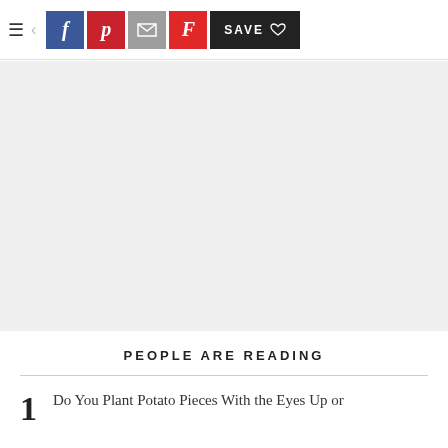≡ < f p [email] F SAVE ♡
[Figure (other): Gray placeholder image area]
PEOPLE ARE READING
1   Do You Plant Potato Pieces With the Eyes Up or